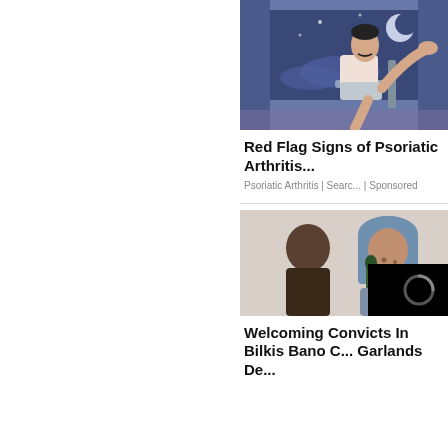[Figure (illustration): Illustration of a man sitting in a chair at night, with his leg elevated, wearing a white tank top and grey shorts. Night sky visible through window in background.]
Red Flag Signs of Psoriatic Arthritis...
Psoriatic Arthritis | Searc... | Sponsored
[Figure (photo): Photo of a woman in a headscarf speaking into a microphone, with a man visible to her left. Image partially obscured by a black overlay with a loading spinner in the bottom-right corner.]
Welcoming Convicts In Bilkis Bano C... Garlands De...